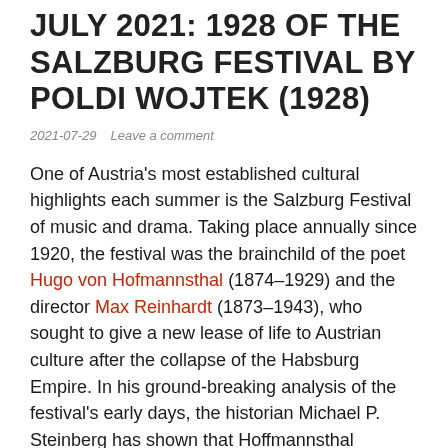JULY 2021: 1928 OF THE SALZBURG FESTIVAL BY POLDI WOJTEK (1928)
2021-07-29   Leave a comment
One of Austria's most established cultural highlights each summer is the Salzburg Festival of music and drama. Taking place annually since 1920, the festival was the brainchild of the poet Hugo von Hofmannsthal (1874–1929) and the director Max Reinhardt (1873–1943), who sought to give a new lease of life to Austrian culture after the collapse of the Habsburg Empire. In his ground-breaking analysis of the festival's early days, the historian Michael P. Steinberg has shown that Hoffmannsthal conceived of the event as an affirmation of a new Austrian identity, which aimed to merge a cosmopolitan outlook with a deep